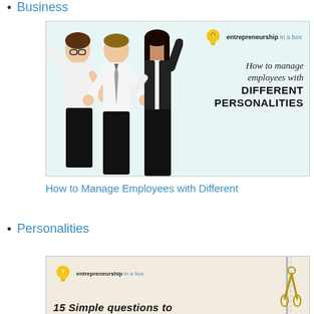Business
[Figure (illustration): Promotional image for 'entrepreneurship in a box' showing three business people celebrating with text 'How to manage employees with DIFFERENT PERSONALITIES']
How to Manage Employees with Different Personalities
Personalities
[Figure (illustration): Promotional image for 'entrepreneurship in a box' with text partially visible '15 Simple questions to...' with scissors graphic]